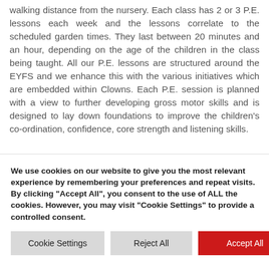walking distance from the nursery. Each class has 2 or 3 P.E. lessons each week and the lessons correlate to the scheduled garden times. They last between 20 minutes and an hour, depending on the age of the children in the class being taught. All our P.E. lessons are structured around the EYFS and we enhance this with the various initiatives which are embedded within Clowns. Each P.E. session is planned with a view to further developing gross motor skills and is designed to lay down foundations to improve the children's co-ordination, confidence, core strength and listening skills.
We use cookies on our website to give you the most relevant experience by remembering your preferences and repeat visits. By clicking "Accept All", you consent to the use of ALL the cookies. However, you may visit "Cookie Settings" to provide a controlled consent.